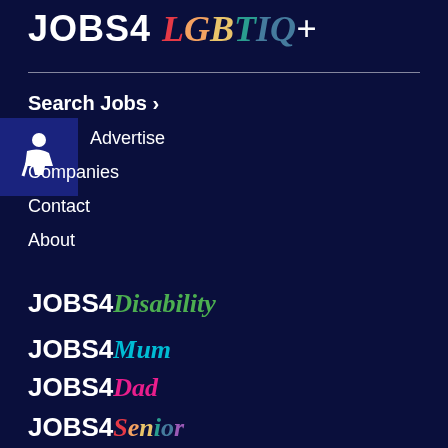JOBS4 LGBTIQ+
Search Jobs >
Advertise
Companies
Contact
About
[Figure (logo): Accessibility icon / person in wheelchair logo in dark blue box]
JOBS4 Disability
JOBS4 Mum
JOBS4 Dad
JOBS4 (partial, multicolor cursive)